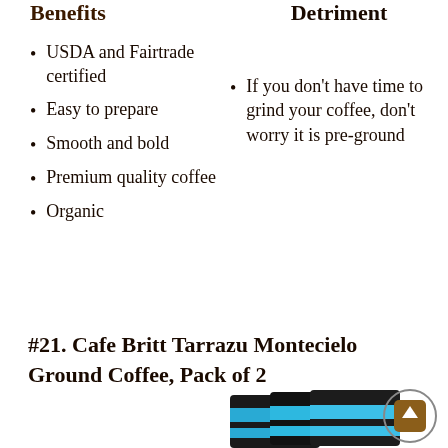Benefits
Detriment
USDA and Fairtrade certified
Easy to prepare
Smooth and bold
Premium quality coffee
Organic
If you don't have time to grind your coffee, don't worry it is pre-ground
#21. Cafe Britt Tarrazu Montecielo Ground Coffee, Pack of 2
[Figure (photo): Two packages of Cafe Britt Tarrazu Montecielo Ground Coffee with black and teal/blue packaging, shown at the bottom of the page. A brown scroll-to-top button appears in the bottom right corner.]